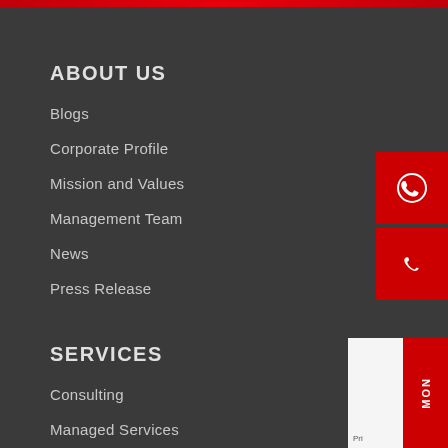ABOUT US
Blogs
Corporate Profile
Mission and Values
Management Team
News
Press Release
SERVICES
Consulting
Managed Services
Resource Augmentation
Support and Maintenance
SOLUTIONS